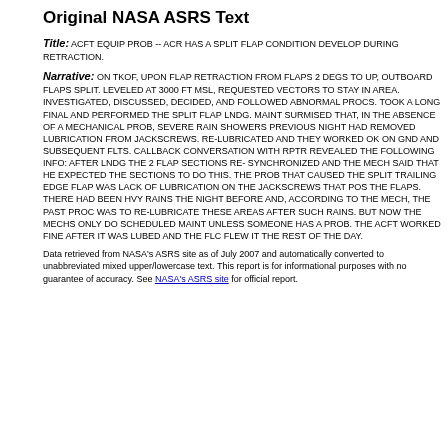Original NASA ASRS Text
Title: ACFT EQUIP PROB -- ACR HAS A SPLIT FLAP CONDITION DEVELOP DURING RETRACTION.
Narrative: ON TKOF, UPON FLAP RETRACTION FROM FLAPS 2 DEGS TO UP, OUTBOARD FLAPS SPLIT. LEVELED AT 3000 FT MSL, REQUESTED VECTORS TO STAY IN AREA. INVESTIGATED, DISCUSSED, DECIDED, AND FOLLOWED ABNORMAL PROCS. TOOK A LONG FINAL AND PERFORMED THE SPLIT FLAP LNDG. MAINT SURMISED THAT, IN THE ABSENCE OF A MECHANICAL PROB, SEVERE RAIN SHOWERS PREVIOUS NIGHT HAD REMOVED LUBRICATION FROM JACKSCREWS. RE-LUBRICATED AND THEY WORKED OK ON GND AND SUBSEQUENT FLTS. CALLBACK CONVERSATION WITH RPTR REVEALED THE FOLLOWING INFO: AFTER LNDG THE 2 FLAP SECTIONS RE- SYNCHRONIZED AND THE MECH SAID THAT HE EXPECTED THE SECTIONS TO DO THIS. THE PROB THAT CAUSED THE SPLIT TRAILING EDGE FLAP WAS LACK OF LUBRICATION ON THE JACKSCREWS THAT POS THE FLAPS. THERE HAD BEEN HVY RAINS THE NIGHT BEFORE AND, ACCORDING TO THE MECH, THE PAST PROC WAS TO RE-LUBRICATE THESE AREAS AFTER SUCH RAINS. BUT NOW THE MECHS ONLY DO SCHEDULED MAINT UNLESS SOMEONE HAS A PROB. THE ACFT WORKED FINE AFTER IT WAS LUBED AND THE FLC FLEW IT THE REST OF THE DAY.
Data retrieved from NASA's ASRS site as of July 2007 and automatically converted to unabbreviated mixed upper/lowercase text. This report is for informational purposes with no guarantee of accuracy. See NASA's ASRS site for official report.